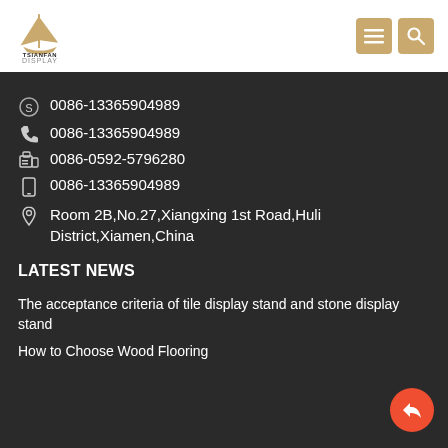[Figure (logo): Tsianfan Display logo with sailboat icon and company name]
0086-13365904989
0086-13365904989
0086-0592-5796280
0086-13365904989
Room 2B,No.27,Xiangxing 1st Road,Huli District,Xiamen,China
LATEST NEWS
The acceptance criteria of tile display stand and stone display stand
How to Choose Wood Flooring